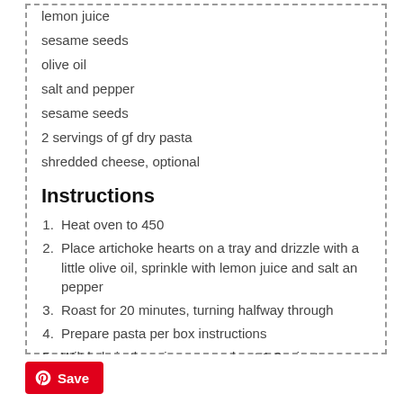lemon juice
sesame seeds
olive oil
salt and pepper
sesame seeds
2 servings of gf dry pasta
shredded cheese, optional
Instructions
Heat oven to 450
Place artichoke hearts on a tray and drizzle with a little olive oil, sprinkle with lemon juice and salt an pepper
Roast for 20 minutes, turning halfway through
Prepare pasta per box instructions
Wilt kale in the microwave, about 1-2 minutes
Combine all the the kale pesto ingredients in a blender.
Toss pasta in the kale pesto, top with roasted artichoke hearts, and sprinkle with sesame seeds. Serve with love and cheese.